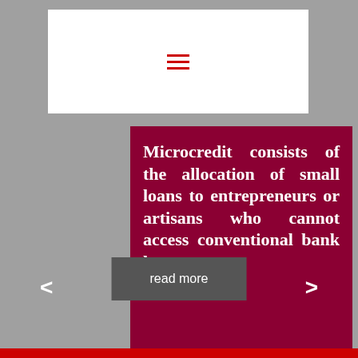[Figure (other): Navigation bar with hamburger menu icon (three red horizontal lines) on white background]
Microcredit consists of the allocation of small loans to entrepreneurs or artisans who cannot access conventional bank loans ..
read more
<
>